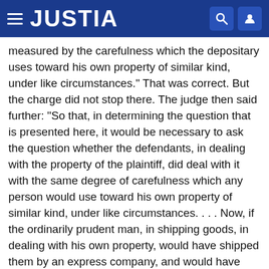JUSTIA
measured by the carefulness which the depositary uses toward his own property of similar kind, under like circumstances." That was correct. But the charge did not stop there. The judge then said further: "So that, in determining the question that is presented here, it would be necessary to ask the question whether the defendants, in dealing with the property of the plaintiff, did deal with it with the same degree of carefulness which any person would use toward his own property of similar kind, under like circumstances. . . . Now, if the ordinarily prudent man, in shipping goods, in dealing with his own property, would have shipped them by an express company, and would have shipped them upon an express receipt in which the value was limited to not more than a certain sum, if that would be what an ordinarily prudent man would have done, under like